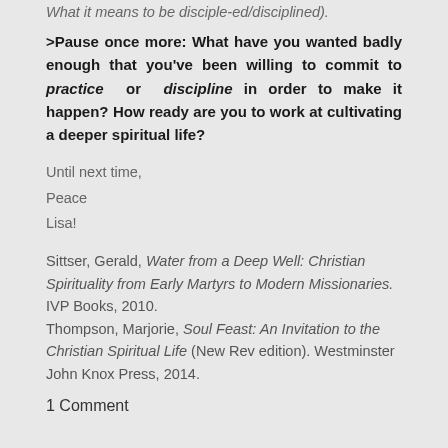What it means to be disciple-ed/disciplined).
>Pause once more: What have you wanted badly enough that you've been willing to commit to practice or discipline in order to make it happen? How ready are you to work at cultivating a deeper spiritual life?
Until next time,
Peace
Lisa!
Sittser, Gerald, Water from a Deep Well: Christian Spirituality from Early Martyrs to Modern Missionaries. IVP Books, 2010.
Thompson, Marjorie, Soul Feast: An Invitation to the Christian Spiritual Life (New Rev edition). Westminster John Knox Press, 2014.
1 Comment